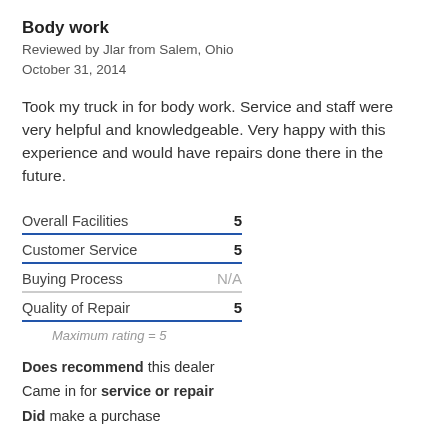Body work
Reviewed by Jlar from Salem, Ohio
October 31, 2014
Took my truck in for body work. Service and staff were very helpful and knowledgeable. Very happy with this experience and would have repairs done there in the future.
| Category | Rating |
| --- | --- |
| Overall Facilities | 5 |
| Customer Service | 5 |
| Buying Process | N/A |
| Quality of Repair | 5 |
Maximum rating = 5
Does recommend this dealer
Came in for service or repair
Did make a purchase